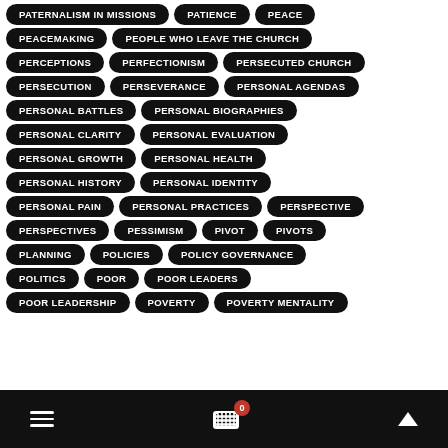PATERNALISM IN MISSIONS
PATIENCE
PEACE
PEACEMAKING
PEOPLE WHO LEAVE THE CHURCH
PERCEPTIONS
PERFECTIONISM
PERSECUTED CHURCH
PERSECUTION
PERSEVERANCE
PERSONAL AGENDAS
PERSONAL BATTLES
PERSONAL BIOGRAPHIES
PERSONAL CLARITY
PERSONAL EVALUATION
PERSONAL GROWTH
PERSONAL HEALTH
PERSONAL HISTORY
PERSONAL IDENTITY
PERSONAL PAIN
PERSONAL PRACTICES
PERSPECTIVE
PERSPECTIVES
PESSIMISM
PIVOT
PIVOTS
PLANNING
POLICIES
POLICY GOVERNANCE
POLITICS
POOR
POOR LEADERS
POOR LEADERSHIP
POVERTY
POVERTY MENTALITY
≡  🛒 0  ∧